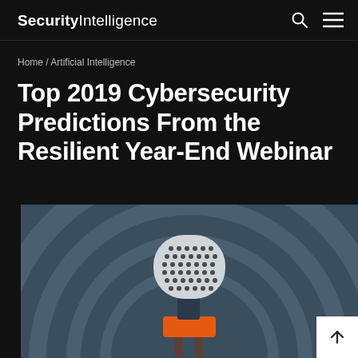Security Intelligence
Home / Artificial Intelligence
Top 2019 Cybersecurity Predictions From the Resilient Year-End Webinar
[Figure (illustration): Illustration of a podcast/webinar microphone with a dotted metallic head, orange band, and dark stand, set against concentric circular rings on a blue-grey background.]